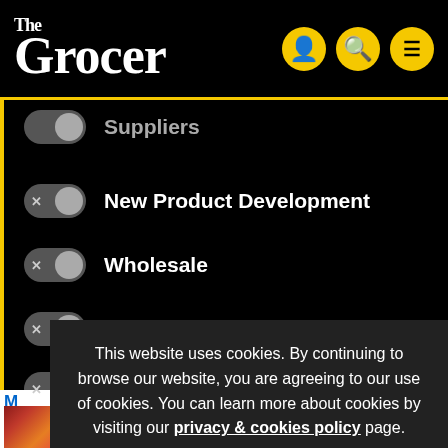The Grocer
Suppliers
New Product Development
Wholesale
Technology
Health
This website uses cookies. By continuing to browse our website, you are agreeing to our use of cookies. You can learn more about cookies by visiting our privacy & cookies policy page.
OK
Alarming fresh food waste is a disaster for society, not just growers